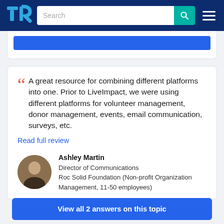TrustRadius - Search
A great resource for combining different platforms into one. Prior to LiveImpact, we were using different platforms for volunteer management, donor management, events, email communication, surveys, etc.
Read full review
Ashley Martin
Director of Communications
Roc Solid Foundation (Non-profit Organization Management, 11-50 employees)
View all 2 answers on this topic